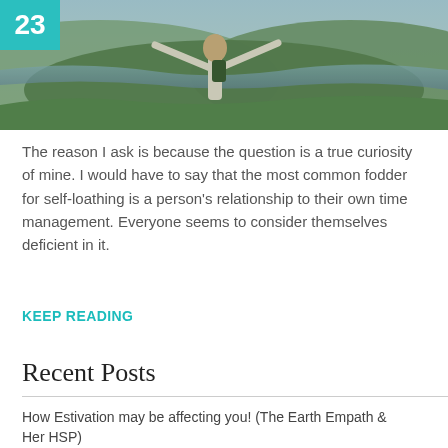[Figure (photo): Person with arms outstretched standing on a hilltop with a scenic landscape of green hills and water in the background. A teal date badge showing '23' appears in the top-left corner.]
The reason I ask is because the question is a true curiosity of mine. I would have to say that the most common fodder for self-loathing is a person's relationship to their own time management. Everyone seems to consider themselves deficient in it.
KEEP READING
Recent Posts
How Estivation may be affecting you! (The Earth Empath & Her HSP)